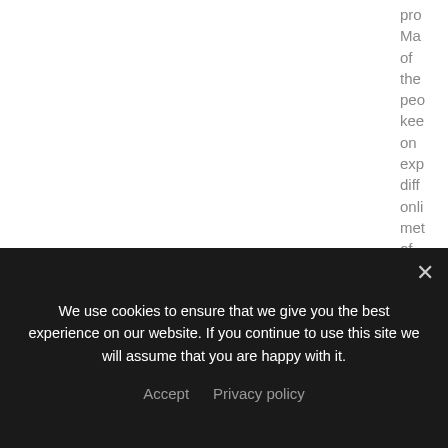pro- Ma- of the peo- kee- on exp- diff- onli- met- of ear- whi- are
We use cookies to ensure that we give you the best experience on our website. If you continue to use this site we will assume that you are happy with it.
Accept   Privacy policy